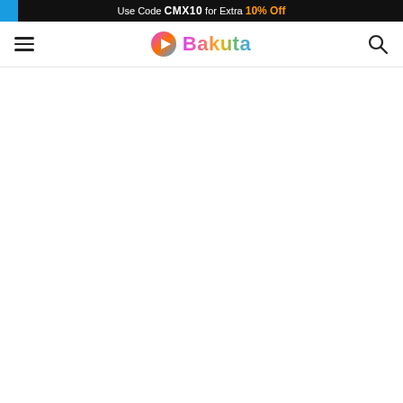Use Code CMX10 for Extra 10% Off
[Figure (logo): Bakuta website header with hamburger menu, Bakuta logo (play button icon + colorful text), and search icon]